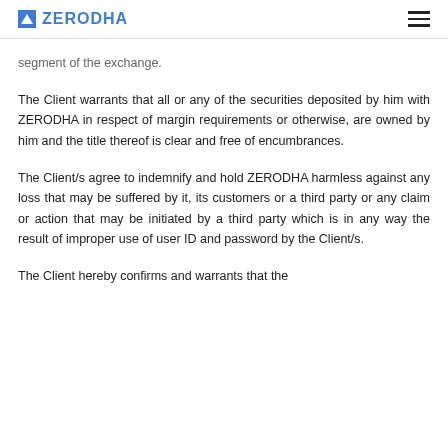ZERODHA
segment of the exchange.
The Client warrants that all or any of the securities deposited by him with ZERODHA in respect of margin requirements or otherwise, are owned by him and the title thereof is clear and free of encumbrances.
The Client/s agree to indemnify and hold ZERODHA harmless against any loss that may be suffered by it, its customers or a third party or any claim or action that may be initiated by a third party which is in any way the result of improper use of user ID and password by the Client/s.
The Client hereby confirms and warrants that the